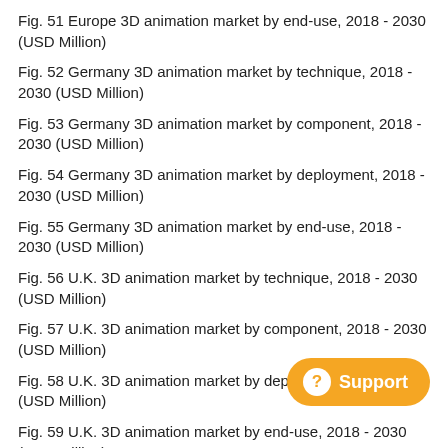Fig. 51 Europe 3D animation market by end-use, 2018 - 2030 (USD Million)
Fig. 52 Germany 3D animation market by technique, 2018 - 2030 (USD Million)
Fig. 53 Germany 3D animation market by component, 2018 - 2030 (USD Million)
Fig. 54 Germany 3D animation market by deployment, 2018 - 2030 (USD Million)
Fig. 55 Germany 3D animation market by end-use, 2018 - 2030 (USD Million)
Fig. 56 U.K. 3D animation market by technique, 2018 - 2030 (USD Million)
Fig. 57 U.K. 3D animation market by component, 2018 - 2030 (USD Million)
Fig. 58 U.K. 3D animation market by deployment, 2018 - 2030 (USD Million)
Fig. 59 U.K. 3D animation market by end-use, 2018 - 2030 (USD Million)